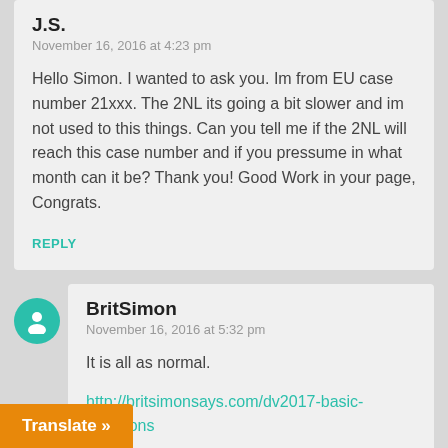J.S.
November 16, 2016 at 4:23 pm
Hello Simon. I wanted to ask you. Im from EU case number 21xxx. The 2NL its going a bit slower and im not used to this things. Can you tell me if the 2NL will reach this case number and if you pressume in what month can it be? Thank you! Good Work in your page, Congrats.
REPLY
BritSimon
November 16, 2016 at 5:32 pm
It is all as normal.
http://britsimonsays.com/dv2017-basic-questions
Translate »